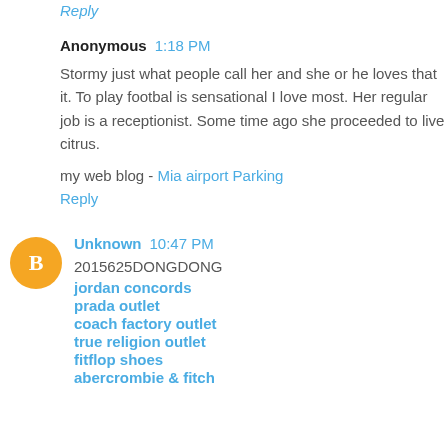Reply
Anonymous  1:18 PM
Stormy just what people call her and she or he loves that it. To play footbal is sensational I love most. Her regular job is a receptionist. Some time ago she proceeded to live citrus.
my web blog - Mia airport Parking
Reply
Unknown  10:47 PM
2015625DONGDONG
jordan concords
prada outlet
coach factory outlet
true religion outlet
fitflop shoes
abercrombie & fitch